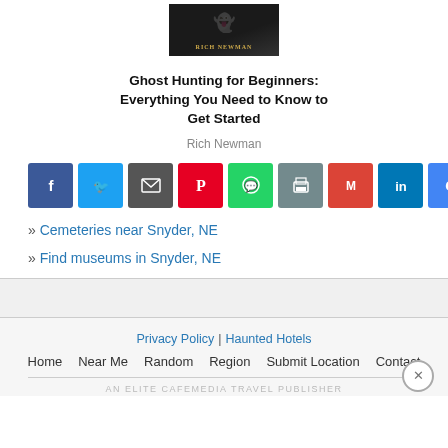[Figure (photo): Book cover for Ghost Hunting for Beginners by Rich Newman, dark background with 'RICH NEWMAN' text]
Ghost Hunting for Beginners: Everything You Need to Know to Get Started
Rich Newman
[Figure (infographic): Row of social share buttons: Facebook, Twitter, Email/Share, Pinterest, WhatsApp, Print, Gmail, LinkedIn, Google, More (+)]
» Cemeteries near Snyder, NE
» Find museums in Snyder, NE
Privacy Policy | Haunted Hotels
Home   Near Me   Random   Region   Submit Location   Contact
AN ELITE CAFEMEDIA TRAVEL PUBLISHER